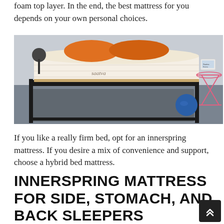foam top layer. In the end, the best mattress for you depends on your own personal choices.
[Figure (photo): A Saatva mattress on a dark metal bed frame in a showroom setting, with orange pillows on top, a blue ball, and a pink wire side table with a tablet on it.]
If you like a really firm bed, opt for an innerspring mattress. If you desire a mix of convenience and support, choose a hybrid bed mattress.
INNERSPRING MATTRESS FOR SIDE, STOMACH, AND BACK SLEEPERS